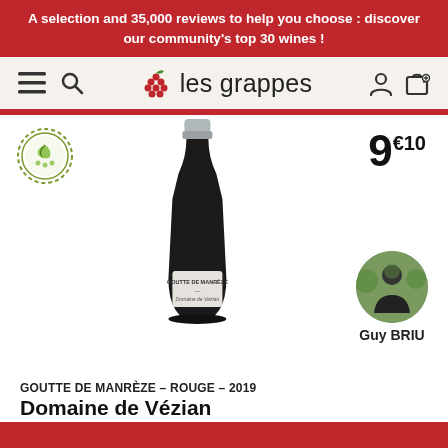A selection and 35,000 reviews to help you choose : discover our community's top 30 wines !
[Figure (logo): les grappes wine platform logo with grape icon, hamburger menu, search, user and cart icons]
[Figure (photo): Dark wine bottle labeled GOUTTE DE MANREZE Domaine de Vézian with silver capsule]
[Figure (photo): Circular producer portrait photo of Guy BRIU in vineyard]
9€10
GOUTTE DE MANRÈZE - ROUGE - 2019
Domaine de Vézian
Languedoc – Côtes Catalanes